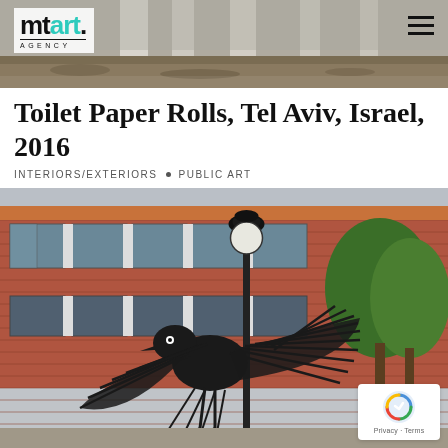[Figure (photo): Header background photo showing a construction site with concrete pillars and gravel]
mt art. AGENCY
Toilet Paper Rolls, Tel Aviv, Israel, 2016
INTERIORS/EXTERIORS • PUBLIC ART
[Figure (photo): Street art mural on a red brick building showing a large bird with spread wings painted in black and white, with a street lamp in foreground and green trees visible on the right]